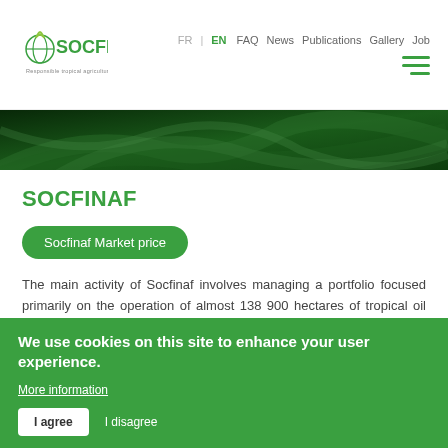FR | EN  FAQ  News  Publications  Gallery  Job
[Figure (logo): SOCFIN logo with green globe icon and tagline 'Responsible tropical agriculture']
[Figure (photo): Dark green tropical palm leaf background banner image]
SOCFINAF
Socfinaf Market price
The main activity of Socfinaf involves managing a portfolio focused primarily on the operation of almost 138 900 hectares of tropical oil palm and rubber plantations located in Africa.
Capital
We use cookies on this site to enhance your user experience.
More information
I agree  I disagree